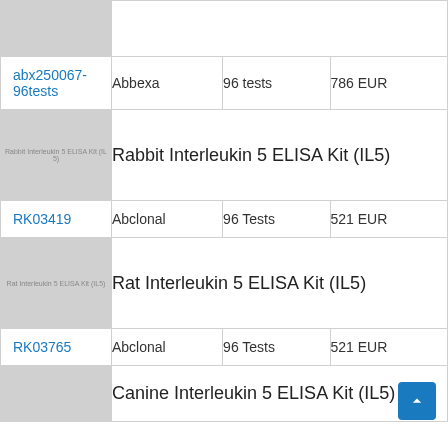| Product | Supplier | Quantity | Price |
| --- | --- | --- | --- |
| abx250067-96tests | Abbexa | 96 tests | 786 EUR |
| Rabbit Interleukin 5 ELISA Kit (IL5) |  |  |  |
| RK03419 | Abclonal | 96 Tests | 521 EUR |
| Rat Interleukin 5 ELISA Kit (IL5) |  |  |  |
| RK03765 | Abclonal | 96 Tests | 521 EUR |
| Canine Interleukin 5 ELISA Kit (IL5) |  |  |  |